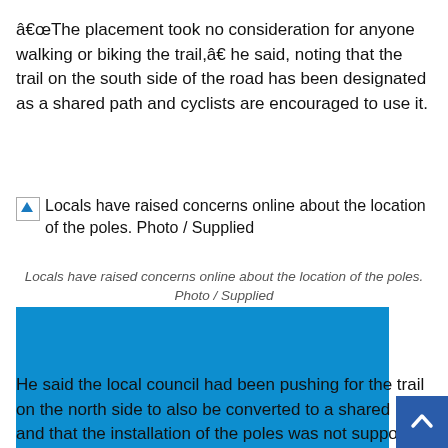“The placement took no consideration for anyone walking or biking the trail,” he said, noting that the trail on the south side of the road has been designated as a shared path and cyclists are encouraged to use it.
[Figure (photo): Broken/missing image placeholder with alt text: Locals have raised concerns online about the location of the poles. Photo / Supplied]
Locals have raised concerns online about the location of the poles. Photo / Supplied
[Figure (photo): A blue rectangle representing a loaded photo about pole placement concerns on the trail.]
He said the local council had been pushing for the trail on the north side to also be converted to a shared path and that the installation of the poles was not supportive of the local council's